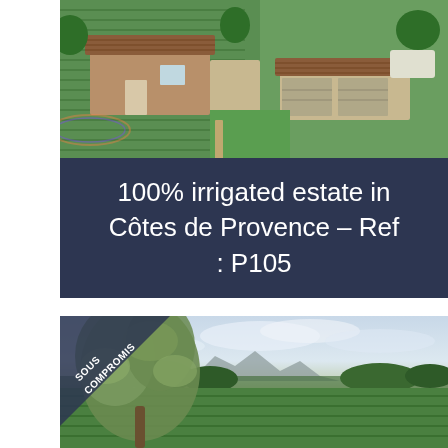[Figure (photo): Aerial drone photograph of a Provençal farmhouse estate with stone buildings, tiled roofs, surrounding trees, and vineyard fields visible.]
100% irrigated estate in Côtes de Provence – Ref : P105
[Figure (photo): Landscape photograph of a vineyard and olive tree in Provence with a mountain (Sainte-Victoire) in the background, overcast sky. A 'SOUS COMPROMIS' diagonal banner stamp appears in the upper left corner.]